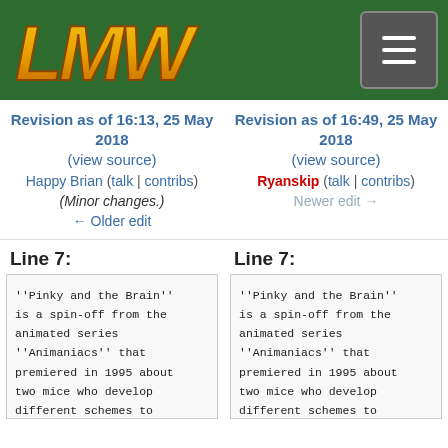LMW logo and navigation menu
Revision as of 16:13, 25 May 2018 (view source)
Happy Brian (talk | contribs)
(Minor changes.)
← Older edit
Revision as of 16:49, 25 May 2018 (view source)
Ryanskip (talk | contribs)
Newer edit →
Line 7:
Line 7:
''Pinky and the Brain'' is a spin-off from the animated series ''Animaniacs'' that premiered in 1995 about two mice who develop different schemes to take over the world
''Pinky and the Brain'' is a spin-off from the animated series ''Animaniacs'' that premiered in 1995 about two mice who develop different schemes to take over the world